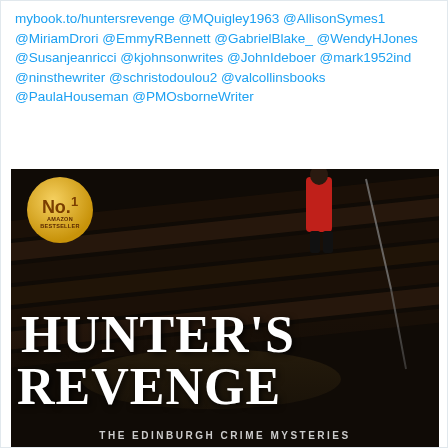mybook.to/huntersrevenge @MQuigley1963 @AllisonSymes1 @MiriamDrori @EmmyRBennett @GabrielBlake_ @WendyHJones @Susanjeanricci @kjohnsonwrites @JohnIdeboer @mark1952ind @ninsthewriter @schristodoulou2 @valcollinsbooks @PaulaHouseman @PMOsborneWriter
[Figure (photo): Book cover for Hunter's Revenge - The Edinburgh Crime Mysteries. Dark atmospheric image showing a figure in a red coat standing at the top of stairs at night. Features a gold 'No.1 Amazon Bestseller' badge in the top left. Large white serif text reads HUNTER'S REVENGE with subtitle THE EDINBURGH CRIME MYSTERIES.]